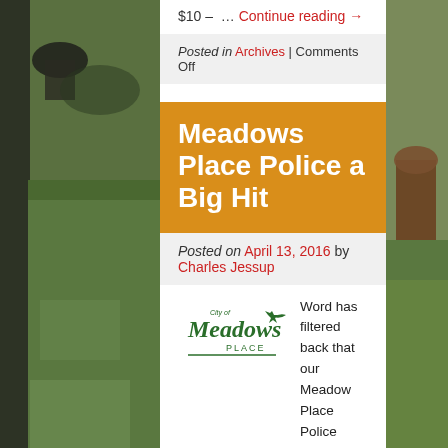$10 – … Continue reading →
Posted in Archives | Comments Off
Meadows Place Police a Big Hit
Posted on April 13, 2016 by Charles Jessup
[Figure (logo): City of Meadows Place logo with green text and Texas outline]
Word has filtered back that our Meadow Place Police Department was a big hit at the Old Town Meadows event at Meadows Elementary. While everyone enjoyed our officers mingling with … Continue reading →